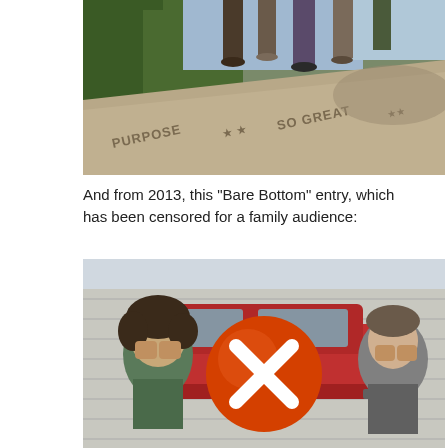[Figure (photo): Outdoor photo taken from a low angle looking up at people standing on what appears to be a stone monument or pedestal. The pedestal has text reading 'PURPOSE * * SO GREAT *' engraved on it. Trees are visible in the background.]
And from 2013, this “Bare Bottom” entry, which has been censored for a family audience:
[Figure (photo): Photo of two people (a woman with curly hair on the left in a green shirt, and another person on the right) both covering their faces with their hands beside a red car against a brick wall background. A large orange circle with a white X is overlaid in the center of the image as a censor.]